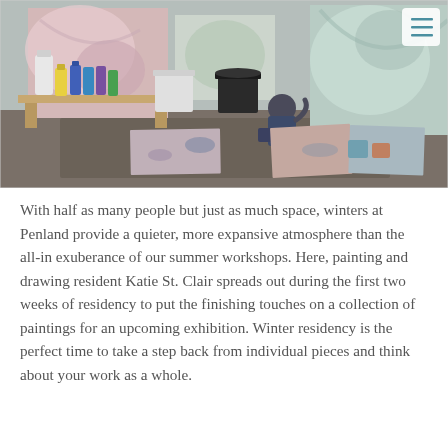[Figure (photo): An artist studio with paint bottles, buckets, and large canvases on the floor. A person is seen working on a painting in the background. The studio is spacious with abstract paintings visible.]
With half as many people but just as much space, winters at Penland provide a quieter, more expansive atmosphere than the all-in exuberance of our summer workshops. Here, painting and drawing resident Katie St. Clair spreads out during the first two weeks of residency to put the finishing touches on a collection of paintings for an upcoming exhibition. Winter residency is the perfect time to take a step back from individual pieces and think about your work as a whole.